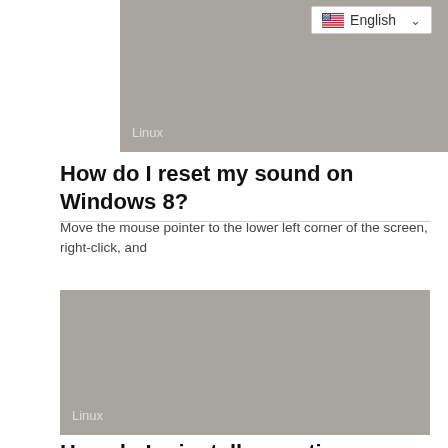[Figure (screenshot): Gray placeholder image with 'Linux' label in lower left corner, with English language selector dropdown in top right]
How do I reset my sound on Windows 8?
Move the mouse pointer to the lower left corner of the screen, right-click, and
[Figure (screenshot): Gray placeholder image with 'Linux' label in lower left corner]
How do I reinstall operating system